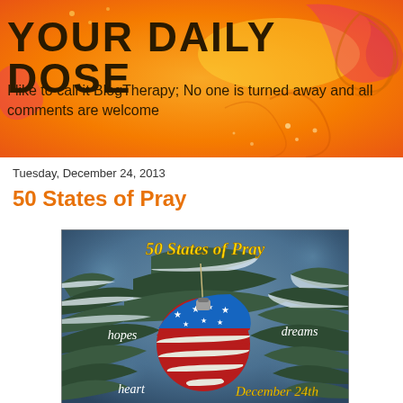YOUR DAILY DOSE
I like to call it BlogTherapy; No one is turned away and all comments are welcome
Tuesday, December 24, 2013
50 States of Pray
[Figure (illustration): Christmas ornament decorated with American flag pattern (red, white, blue with stars) hanging on snow-covered pine tree branches. Text overlays: '50 States of Pray' in gold at top, 'hopes' in white italic on left, 'dreams' in white italic on right, 'heart' in white italic lower left, 'December 24th' in gold italic at bottom right.]